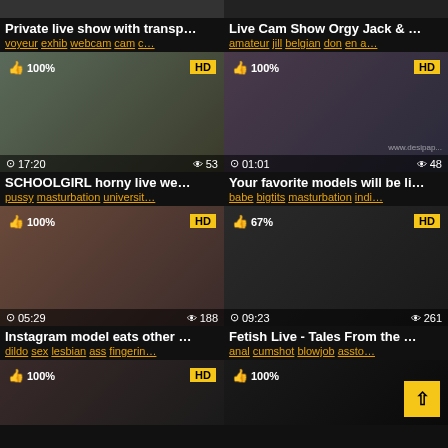[Figure (screenshot): Video thumbnail grid - adult video website with 6 video cards in 2-column layout]
Private live show with transp...
voyeur exhib webcam cam c...
Live Cam Show Orgy Jack & ...
amateur jill belgian don en a...
SCHOOLGIRL horny live we...
pussy masturbation universit...
Your favorite models will be li...
babe bigtits masturbation indi...
Instagram model eats other ...
dildo sex lesbian ass fingerin...
Fetish Live - Tales From the ...
anal cumshot blowjob assto...